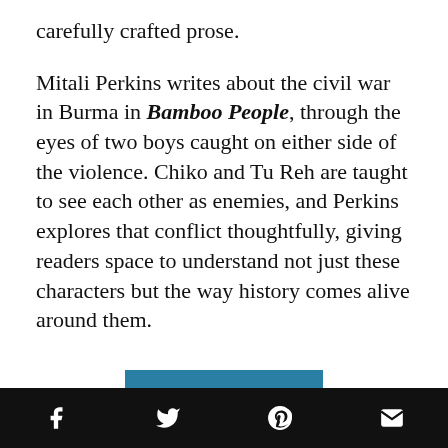carefully crafted prose.
Mitali Perkins writes about the civil war in Burma in Bamboo People, through the eyes of two boys caught on either side of the violence. Chiko and Tu Reh are taught to see each other as enemies, and Perkins explores that conflict thoughtfully, giving readers space to understand not just these characters but the way history comes alive around them.
[Figure (photo): Book cover of 'The Refugees' shown partially - blue background with yellow stylized lettering spelling 'THE REFUGEES']
Social sharing bar with Facebook, Twitter, Pinterest, and email icons